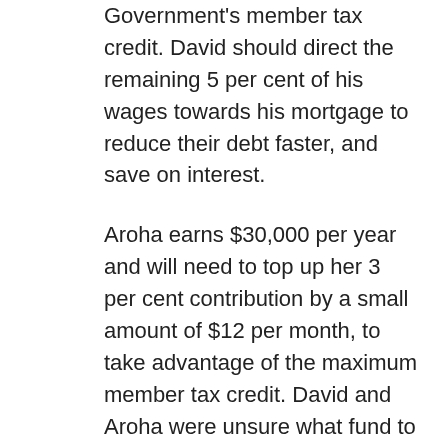Government's member tax credit. David should direct the remaining 5 per cent of his wages towards his mortgage to reduce their debt faster, and save on interest.
Aroha earns $30,000 per year and will need to top up her 3 per cent contribution by a small amount of $12 per month, to take advantage of the maximum member tax credit. David and Aroha were unsure what fund to invest with KiwiSaver. Their financial adviser encouraged them to complete a risk profile form to figure out what type of financial risk they were willing to take. As a result, they were recommended a balanced growth fund, given their long timeframe. This fund includes investments of different risk levels that a fund manager can change to suit market swings. It